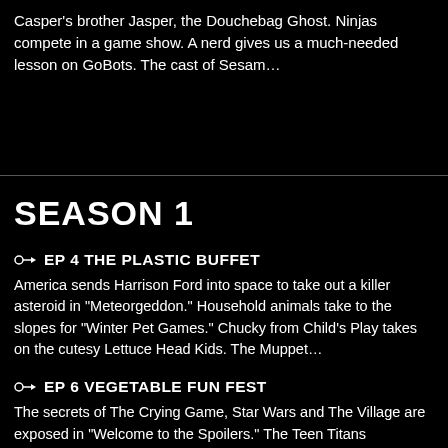Casper's brother Jasper, the Douchebag Ghost. Ninjas compete in a game show. A nerd gives us a much-needed lesson on GoBots. The cast of Sesam…
SEASON 1
EP 4 THE PLASTIC BUFFET — America sends Harrison Ford into space to take out a killer asteroid in "Meteorgeddon." Household animals take to the slopes for "Winter Pet Games." Chucky from Child's Play takes on the cutesy Lettuce Head Kids. The Muppet…
EP 6 VEGETABLE FUN FEST — The secrets of The Crying Game, Star Wars and The Village are exposed in "Welcome to the Spoilers." The Teen Titans strengthen their roster by adding Beavis and Butt-head. Travel back in time to witness Benny Hill's funeral. The…
EP 9 S&M PRESENT — The last surviving member of N*Sync, Joey Fatone, must avenge his murdered bandmates in a deadly martial arts tournament.